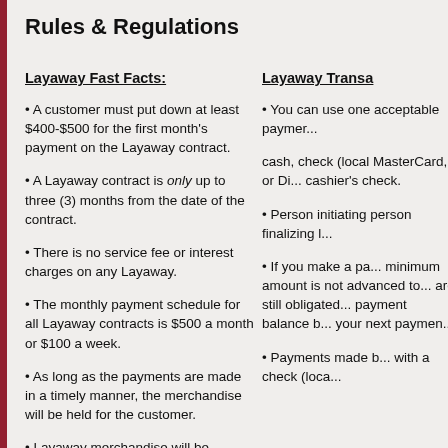Rules & Regulations
Layaway Fast Facts:
A customer must put down at least $400-$500 for the first month's payment on the Layaway contract.
A Layaway contract is only up to three (3) months from the date of the contract.
There is no service fee or interest charges on any Layaway.
The monthly payment schedule for all Layaway contracts is $500 a month or $100 a week.
As long as the payments are made in a timely manner, the merchandise will be held for the customer.
Layaway merchandise will be returned to stock two (2) days after a missed payment.
Layaway Transa...
You can use one acceptable payment...
cash, check (local MasterCard, or Di... cashier's check.
Person initiating person finalizing L...
If you make a pa... minimum amount is not advanced to... are still obligated... payment balance b... your next paymen...
Payments made... with a check (loca...